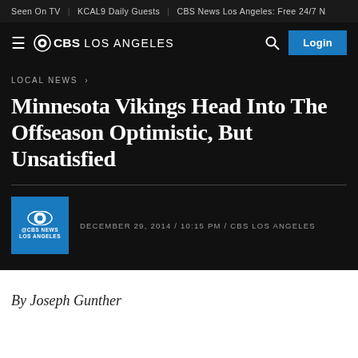Seen On TV | KCAL9 Daily Guests | CBS News Los Angeles: Free 24/7 N
≡ ⊙CBS LOS ANGELES
LOCAL NEWS ›
Minnesota Vikings Head Into The Offseason Optimistic, But Unsatisfied
DECEMBER 29, 2014 / 10:15 PM / CBS LOS ANGELES
By Joseph Gunther